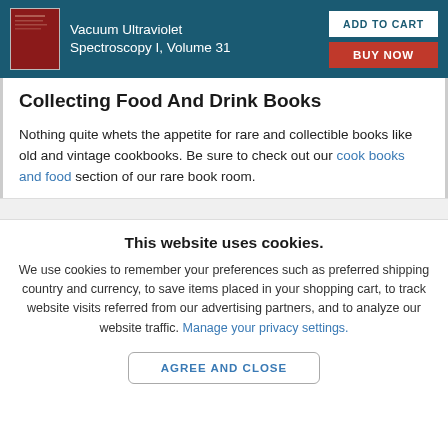[Figure (illustration): Book product banner with red book cover image, title 'Vacuum Ultraviolet Spectroscopy I, Volume 31', and two buttons: 'ADD TO CART' and 'BUY NOW' on a teal background]
Collecting Food And Drink Books
Nothing quite whets the appetite for rare and collectible books like old and vintage cookbooks. Be sure to check out our cook books and food section of our rare book room.
This website uses cookies.
We use cookies to remember your preferences such as preferred shipping country and currency, to save items placed in your shopping cart, to track website visits referred from our advertising partners, and to analyze our website traffic. Manage your privacy settings.
AGREE AND CLOSE